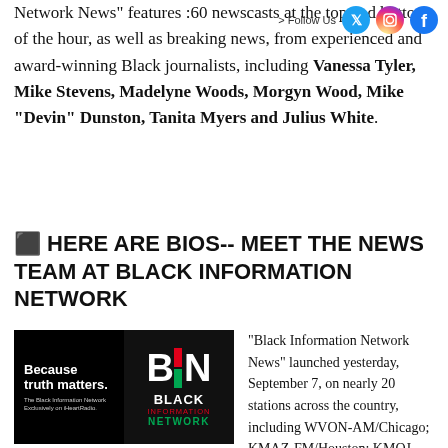Network News" features :60 newscasts at the top and bottom of the hour, as well as breaking news, from experienced and award-winning Black journalists, including Vanessa Tyler, Mike Stevens, Madelyne Woods, Morgyn Wood, Mike "Devin" Dunston, Tanita Myers and Julius White.
[Figure (logo): Follow Us with Twitter, Instagram, and Facebook social media icons]
⬛ HERE ARE BIOS-- MEET THE NEWS TEAM AT BLACK INFORMATION NETWORK
[Figure (logo): Black Information Network logo: left side black with 'Because truth matters.' tagline, right side with BIN logo letters and BLACK INFORMATION NETWORK text]
"Black Information Network News" launched yesterday, September 7, on nearly 20 stations across the country, including WVON-AM/Chicago; KMAZ-FM/Houston; KMOJ-